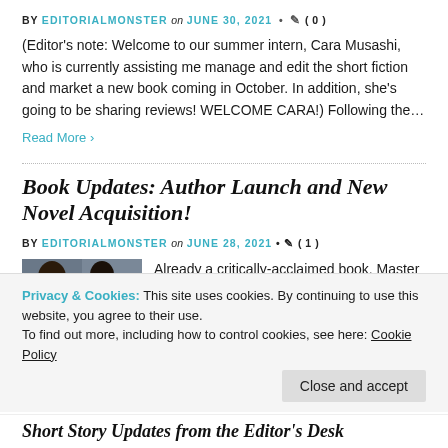BY EDITORIALMONSTER on JUNE 30, 2021 • ◯ ( 0 )
(Editor's note: Welcome to our summer intern, Cara Musashi, who is currently assisting me manage and edit the short fiction and market a new book coming in October. In addition, she's going to be sharing reviews! WELCOME CARA!) Following the…
Read More ›
Book Updates: Author Launch and New Novel Acquisition!
BY EDITORIALMONSTER on JUNE 28, 2021 • ◯ ( 1 )
[Figure (photo): Photo of a person holding books with visible spines including 'Eurydice', 'Orpheus']
Already a critically-acclaimed book, Master of Rod and Strings, launches in just a few short days! To celebrate this exciting book
Privacy & Cookies: This site uses cookies. By continuing to use this website, you agree to their use.
To find out more, including how to control cookies, see here: Cookie Policy
Close and accept
Short Story Updates from the Editor's Desk